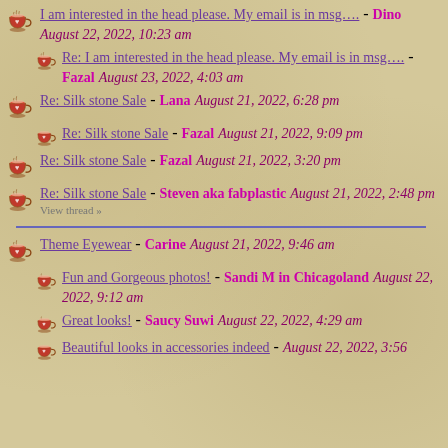I am interested in the head please. My email is in msg.... - Dino August 22, 2022, 10:23 am
Re: I am interested in the head please. My email is in msg.... - Fazal August 23, 2022, 4:03 am
Re: Silk stone Sale - Lana August 21, 2022, 6:28 pm
Re: Silk stone Sale - Fazal August 21, 2022, 9:09 pm
Re: Silk stone Sale - Fazal August 21, 2022, 3:20 pm
Re: Silk stone Sale - Steven aka fabplastic August 21, 2022, 2:48 pm
View thread »
Theme Eyewear - Carine August 21, 2022, 9:46 am
Fun and Gorgeous photos! - Sandi M in Chicagoland August 22, 2022, 9:12 am
Great looks! - Saucy Suwi August 22, 2022, 4:29 am
Beautiful looks in accessories indeed - August 22, 2022, 3:56